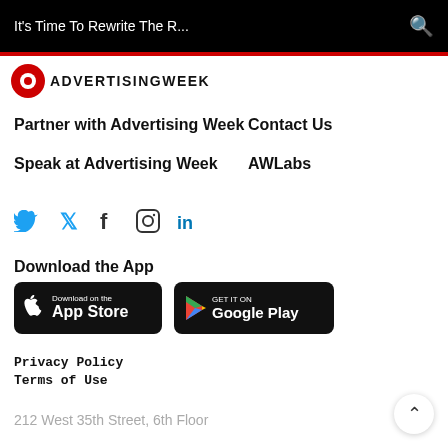It's Time To Rewrite The R...
[Figure (logo): Advertising Week logo with red circle and text ADVERTISINGWEEK]
Partner with Advertising Week
Contact Us
Speak at Advertising Week
AWLabs
[Figure (infographic): Social media icons: Twitter (blue bird), Facebook (f), Instagram (camera), LinkedIn (in)]
Download the App
[Figure (infographic): App store buttons: Download on the App Store and GET IT ON Google Play]
Privacy Policy
Terms of Use
212 West 35th Street, 6th Floor